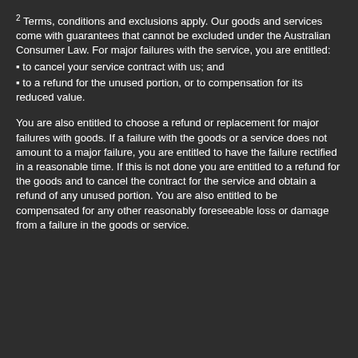2 Terms, conditions and exclusions apply. Our goods and services come with guarantees that cannot be excluded under the Australian Consumer Law. For major failures with the service, you are entitled:
▪ to cancel your service contract with us; and
▪ to a refund for the unused portion, or to compensation for its reduced value.
You are also entitled to choose a refund or replacement for major failures with goods. If a failure with the goods or a service does not amount to a major failure, you are entitled to have the failure rectified in a reasonable time. If this is not done you are entitled to a refund for the goods and to cancel the contract for the service and obtain a refund of any unused portion. You are also entitled to be compensated for any other reasonably foreseeable loss or damage from a failure in the goods or service.